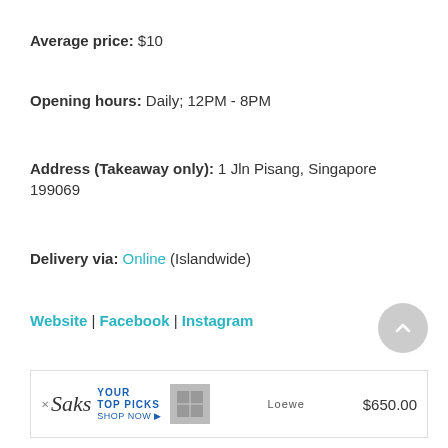Average price: $10
Opening hours: Daily; 12PM - 8PM
Address (Takeaway only): 1 Jln Pisang, Singapore 199069
Delivery via: Online (Islandwide)
Website | Facebook | Instagram
8. 4Fingers
[Figure (other): Saks advertisement banner showing Loewe product at $650.00]